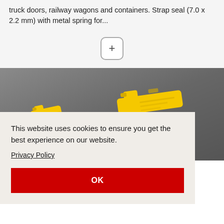truck doors, railway wagons and containers. Strap seal (7.0 x 2.2 mm) with metal spring for...
[Figure (other): A plus (+) button icon with rounded rectangle border]
[Figure (photo): Photo of yellow plastic strap seals on a dark grey background]
This website uses cookies to ensure you get the best experience on our website.
Privacy Policy
OK